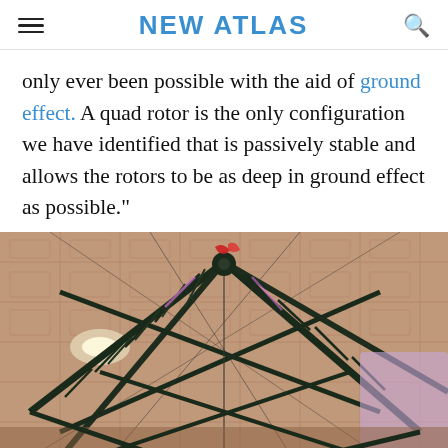NEW ATLAS
only ever been possible with the aid of ground effect. A quad rotor is the only configuration we have identified that is passively stable and allows the rotors to be as deep in ground effect as possible."
[Figure (photo): Close-up photo of a large quadrotor drone frame with metal truss structure, shot from below looking up, with a tiled ceiling visible in the background. The drone has dark metal arms and structural members, with some red and colorful components visible near the center.]